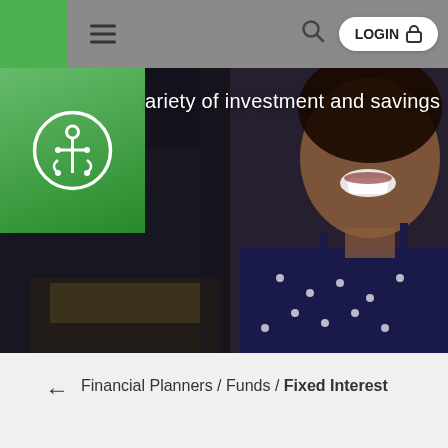LOGIN
[Figure (photo): Hero image of a smiling woman in a dark polka-dot top, in a restaurant/cafe setting. Text overlay reads 'ariety of investment and savings']
Financial Planners / Funds / Fixed Interest